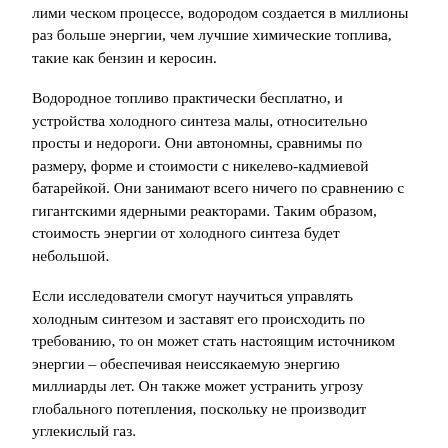лими ческом процессе, водородом создается в миллионы раз больше энергии, чем лучшие химические топлива, такие как бензин и керосин.
Водородное топливо практически бесплатно, и устройства холодного синтеза малы, относительно просты и недороги. Они автономны, сравнимы по размеру, форме и стоимости с никелево-кадмиевой батарейкой. Они занимают всего ничего по сравнению с гигантскими ядерными реакторами. Таким образом, стоимость энергии от холодного синтеза будет небольшой.
Если исследователи смогут научиться управлять холодным синтезом и заставят его происходить по требованию, то он может стать настоящим источником энергии – обеспечивая неиссякаемую энергию миллиарды лет. Он также может устранить угрозу глобального потепления, поскольку не производит углекислый газ.
Большинство реакторов холодного синтеза создают немного тепла – меньше, чем ватт – но некоторые из них намного горячее. Вот 124 испытания из различных лабораторий, сгруппированные от высокой мощности к низкой. Только в некоторых из них вырабатывалась большая мощность. В большинстве вырабатывалась мизерная